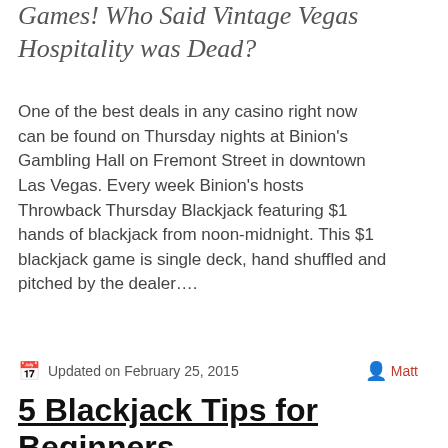Games! Who Said Vintage Vegas Hospitality was Dead?
One of the best deals in any casino right now can be found on Thursday nights at Binion's Gambling Hall on Fremont Street in downtown Las Vegas. Every week Binion's hosts Throwback Thursday Blackjack featuring $1 hands of blackjack from noon-midnight. This $1 blackjack game is single deck, hand shuffled and pitched by the dealer….
Updated on February 25, 2015   Matt
5 Blackjack Tips for Beginners
[Figure (photo): Photo showing a blackjack table with cards and chips, dark background with pink/red lighting]